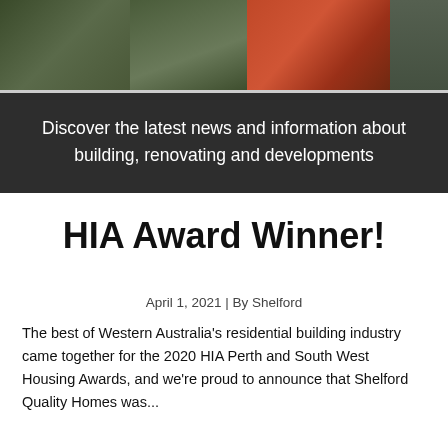[Figure (photo): Photo banner showing garden/nature images and red flowers against dark background]
Discover the latest news and information about building, renovating and developments
HIA Award Winner!
April 1, 2021 | By Shelford
The best of Western Australia's residential building industry came together for the 2020 HIA Perth and South West Housing Awards, and we're proud to announce that Shelford Quality Homes was...